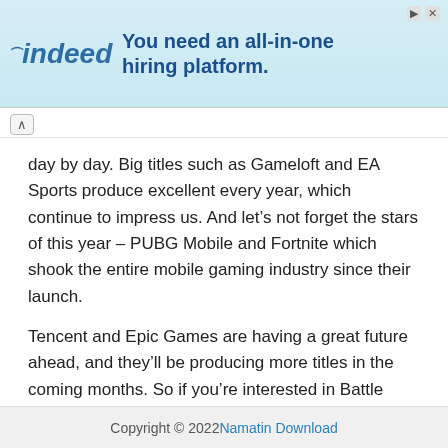[Figure (other): Indeed advertisement banner: 'You need an all-in-one hiring platform.']
day by day. Big titles such as Gameloft and EA Sports produce excellent every year, which continue to impress us. And let’s not forget the stars of this year – PUBG Mobile and Fortnite which shook the entire mobile gaming industry since their launch.
Tencent and Epic Games are having a great future ahead, and they’ll be producing more titles in the coming months. So if you’re interested in Battle Royale, you should definitely keep an eye on these titles.
Which game from the above list is your favorite? Let us know in the comments below.
Copyright © 2022 Namatin Download